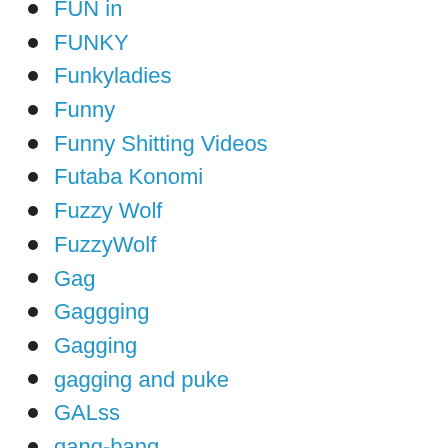FUN in
FUNKY
Funkyladies
Funny
Funny Shitting Videos
Futaba Konomi
Fuzzy Wolf
FuzzyWolf
Gag
Gaggging
Gagging
gagging and puke
GALss
gang-bang
Gangbang
Gangbang JAV